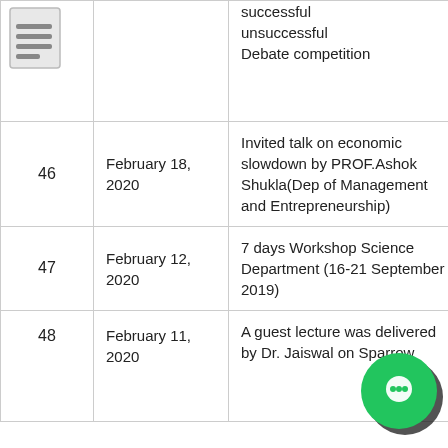| # | Date | Description | Link |
| --- | --- | --- | --- |
|  |  | successful
unsuccessful
Debate competition | vie |
| 46 | February 18, 2020 | Invited talk on economic slowdown by PROF.Ashok Shukla(Dep of Management and Entrepreneurship) | vie |
| 47 | February 12, 2020 | 7 days Workshop Science Department (16-21 September 2019) | vie |
| 48 | February 11, 2020 | A guest lecture was delivered by Dr. Jaiswal on Sparrow... | v |